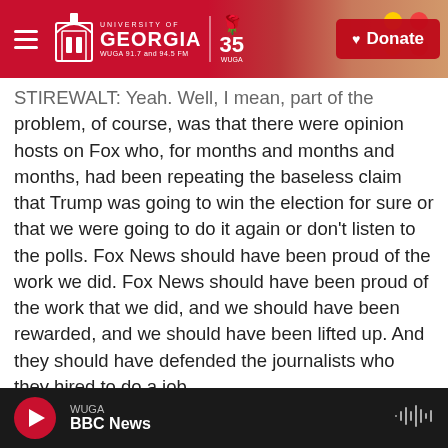University of Georgia WUGA 91.7 and 94.5 FM | 35 WUGA | Donate
STIREWALT: Yeah. Well, I mean, part of the problem, of course, was that there were opinion hosts on Fox who, for months and months and months, had been repeating the baseless claim that Trump was going to win the election for sure or that we were going to do it again or don't listen to the polls. Fox News should have been proud of the work we did. Fox News should have been proud of the work that we did, and we should have been rewarded, and we should have been lifted up. And they should have defended the journalists who they hired to do a job.
WUGA BBC News